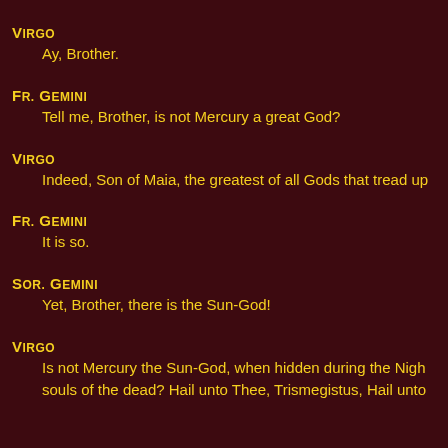Virgo
Ay, Brother.
Fr. Gemini
Tell me, Brother, is not Mercury a great God?
Virgo
Indeed, Son of Maia, the greatest of all Gods that tread up
Fr. Gemini
It is so.
Sor. Gemini
Yet, Brother, there is the Sun-God!
Virgo
Is not Mercury the Sun-God, when hidden during the Nigh souls of the dead? Hail unto Thee, Trismegistus, Hail unto